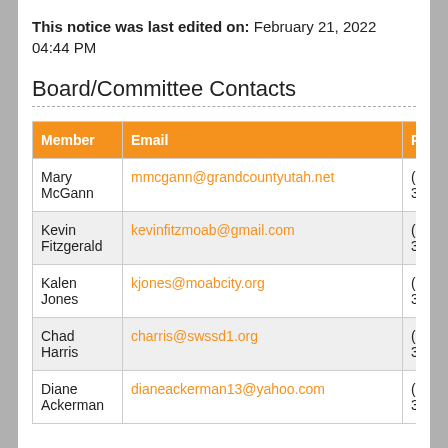This notice was last edited on: February 21, 2022 04:44 PM
Board/Committee Contacts
| Member | Email | Phone |
| --- | --- | --- |
| Mary McGann | mmcgann@grandcountyutah.net | (435) 3867 |
| Kevin Fitzgerald | kevinfitzmoab@gmail.com | (435) 3867 |
| Kalen Jones | kjones@moabcity.org | (435) 3867 |
| Chad Harris | charris@swssd1.org | (435) 3867 |
| Diane Ackerman | dianeackerman13@yahoo.com | (435) 3867 |